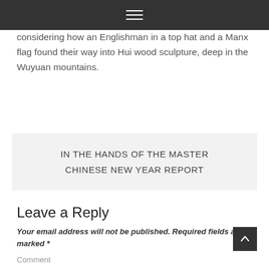☰
considering how an Englishman in a top hat and a Manx flag found their way into Hui wood sculpture, deep in the Wuyuan mountains.
IN THE HANDS OF THE MASTER CHINESE NEW YEAR REPORT
Leave a Reply
Your email address will not be published. Required fields are marked *
Comment